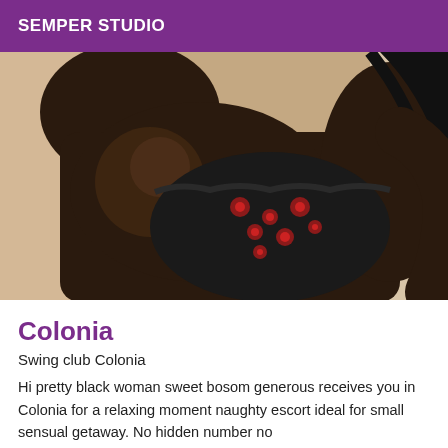SEMPER STUDIO
[Figure (photo): Close-up photo of a Black woman wearing a black floral lingerie top, posing against a light background]
Colonia
Swing club Colonia
Hi pretty black woman sweet bosom generous receives you in Colonia for a relaxing moment naughty escort ideal for small sensual getaway. No hidden number no